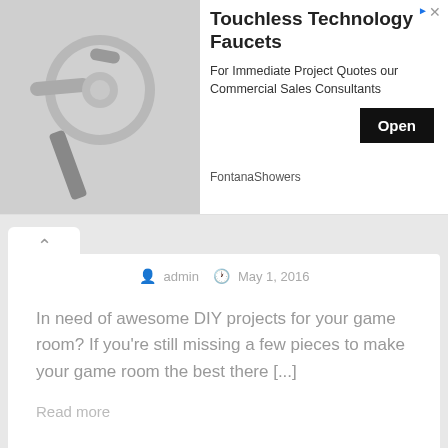[Figure (screenshot): Ad banner for Touchless Technology Faucets by FontanaShowers with a faucet photo, description text, and Open button]
admin  May 1, 2016
In need of awesome DIY projects for your game room? If you're still missing a few pieces to make your game room the best there [...]
Read more
DIY, Knitting
Free Knitting Pattern |